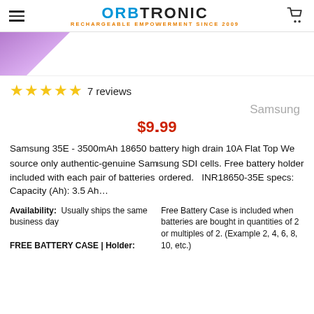ORBTRONIC - RECHARGEABLE EMPOWERMENT SINCE 2009
[Figure (photo): Top corner of purple battery product image]
★★★★★ 7 reviews
Samsung
$9.99
Samsung 35E - 3500mAh 18650 battery high drain 10A Flat Top We source only authentic-genuine Samsung SDI cells. Free battery holder included with each pair of batteries ordered.   INR18650-35E specs: Capacity (Ah): 3.5 Ah…
Availability:  Usually ships the same business day
FREE BATTERY CASE | Holder:
Free Battery Case is included when batteries are bought in quantities of 2 or multiples of 2. (Example 2, 4, 6, 8, 10, etc.)